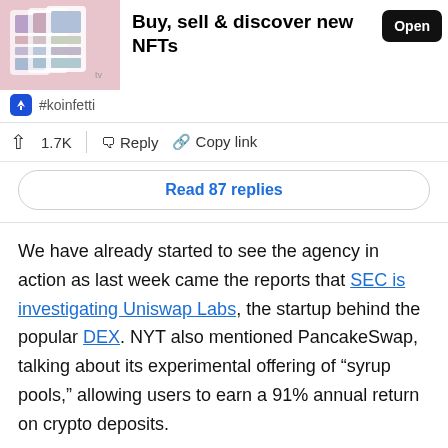[Figure (screenshot): Advertisement banner for an NFT app. Shows a colorful image of app screens on the left, text 'Buy, sell & discover new NFTs' in the center, and a black 'Open' button on the right. Below is a row with a blue icon and '#koinfetti' tag.]
1.7K  Reply  Copy link
Read 87 replies
We have already started to see the agency in action as last week came the reports that SEC is investigating Uniswap Labs, the startup behind the popular DEX. NYT also mentioned PancakeSwap, talking about its experimental offering of “syrup pools,” allowing users to earn a 91% annual return on crypto deposits.
Decentralized finance (DeFi) is a fast-growing sector whose market cap has gone past $143 billion and has